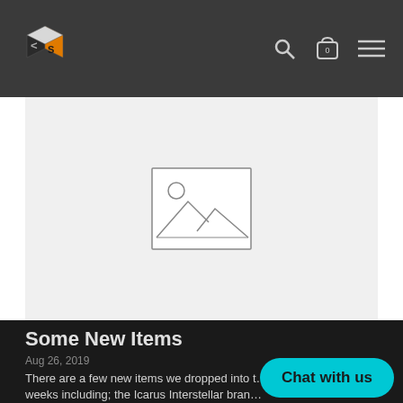CS Store navigation bar with logo, search, cart, and menu icons
[Figure (illustration): Image placeholder with mountain/landscape icon on light gray background]
Some New Items
Aug 26, 2019
There are a few new items we dropped into t... few weeks including; the Icarus Interstellar bran...